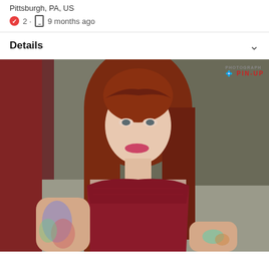Pittsburgh, PA, US
2 · 9 months ago
Details
[Figure (photo): Woman with long red hair wearing a dark red/burgundy lace lingerie top, with tattooed arms, posed indoors with red curtains and grey walls in background. Watermark reads PIN-UP in upper right corner.]